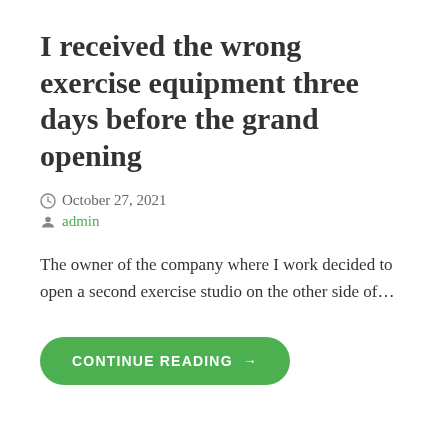I received the wrong exercise equipment three days before the grand opening
October 27, 2021
admin
The owner of the company where I work decided to open a second exercise studio on the other side of...
CONTINUE READING →